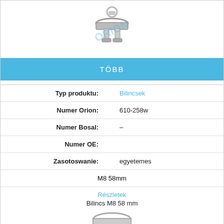[Figure (illustration): Metal exhaust clamp (bilincs) product photo top, with watermark overlay]
TÖBB
| Typ produktu: | Bilincsek |
| Numer Orion: | 610-258w |
| Numer Bosal: | – |
| Numer OE: |  |
| Zasotoswanie: | egyetemes |
|  | M8 58mm |
Részletek
Bilincs M8 58 mm
[Figure (illustration): Metal exhaust clamp (bilincs) product photo bottom, with watermark overlay]